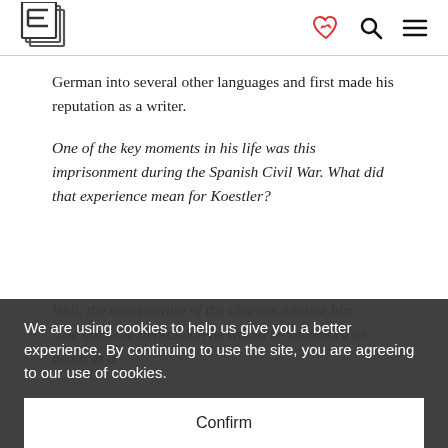[Logo: E] [heart-handshake icon] [search icon] [menu icon]
German into several other languages and first made his reputation as a writer.
One of the key moments in his life was this imprisonment during the Spanish Civil War. What did that experience mean for Koestler?
Well, the exact nature of the charges against him ... the impression he would be sentenced to death as a correspondent without revealing his membership
We are using cookies to help us give you a better experience. By continuing to use the site, you are agreeing to our use of cookies. Confirm